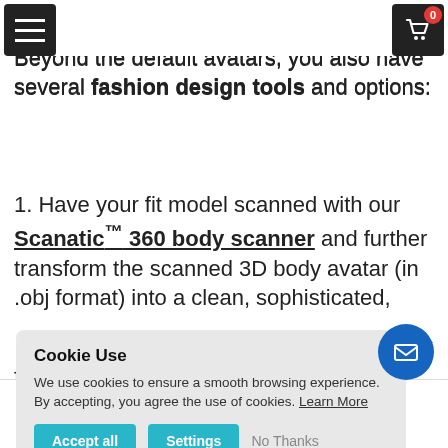Navigation bar with hamburger menu and cart icon (badge: 0)
fitting needs.
Beyond the default avatars, you also have several fashion design tools and options:
1. Have your fit model scanned with our Scanatic™ 360 body scanner and further transform the scanned 3D body avatar (in .obj format) into a clean, sophisticated, fbx format) ar Service. The d into Scanatic™
Cookie Use
We use cookies to ensure a smooth browsing experience. By accepting, you agree the use of cookies. Learn More
Accept all   Settings   No Thanks
Home   Contact   Blogs